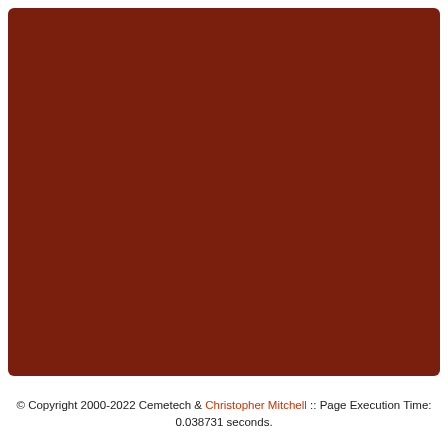[Figure (other): Large dark red/maroon rectangular block filling most of the page with rounded corners]
© Copyright 2000-2022 Cemetech & Christopher Mitchell :: Page Execution Time: 0.038731 seconds.